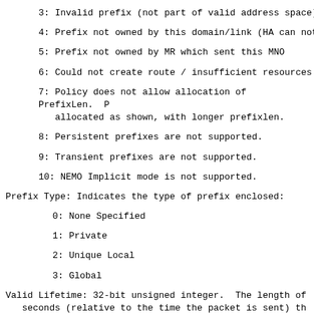3: Invalid prefix (not part of valid address space)
4: Prefix not owned by this domain/link (HA can not
5: Prefix not owned by MR which sent this MNO
6: Could not create route / insufficient resources
7: Policy does not allow allocation of PrefixLen.  P
   allocated as shown, with longer prefixlen.
8: Persistent prefixes are not supported.
9: Transient prefixes are not supported.
10: NEMO Implicit mode is not supported.
Prefix Type: Indicates the type of prefix enclosed:
0: None Specified
1: Private
2: Unique Local
3: Global
Valid Lifetime: 32-bit unsigned integer.  The length of
   seconds (relative to the time the packet is sent) th
   is valid for being installed on an MR ingress interf